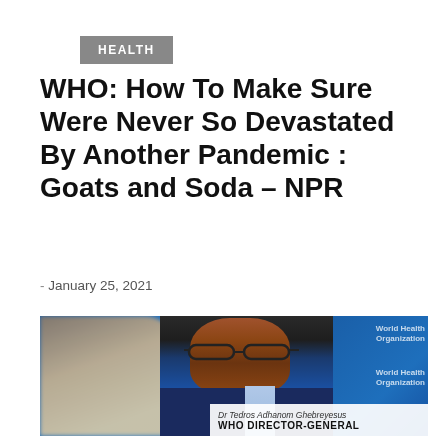HEALTH
WHO: How To Make Sure Were Never So Devastated By Another Pandemic : Goats and Soda – NPR
- January 25, 2021
[Figure (photo): Dr. Tedros Adhanom Ghebreyesus, WHO Director-General, seated at a table with World Health Organization banners in the background and a blurred figure in the foreground.]